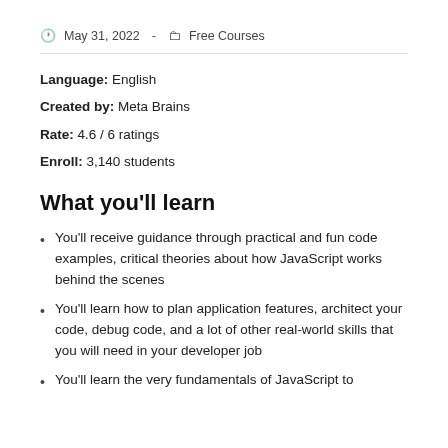May 31, 2022  -  Free Courses
Language: English
Created by: Meta Brains
Rate: 4.6 / 6 ratings
Enroll: 3,140 students
What you'll learn
You'll receive guidance through practical and fun code examples, critical theories about how JavaScript works behind the scenes
You'll learn how to plan application features, architect your code, debug code, and a lot of other real-world skills that you will need in your developer job
You'll learn the very fundamentals of JavaScript to